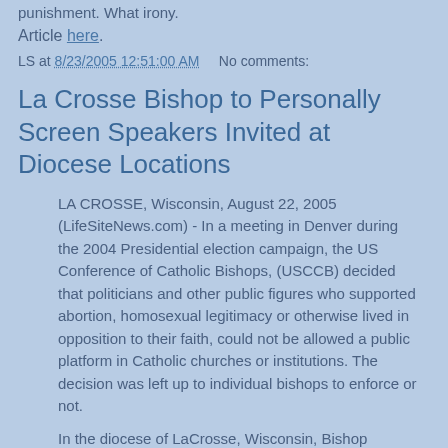punishment. What irony.
Article here.
LS at 8/23/2005 12:51:00 AM     No comments:
La Crosse Bishop to Personally Screen Speakers Invited at Diocese Locations
LA CROSSE, Wisconsin, August 22, 2005 (LifeSiteNews.com) - In a meeting in Denver during the 2004 Presidential election campaign, the US Conference of Catholic Bishops, (USCCB) decided that politicians and other public figures who supported abortion, homosexual legitimacy or otherwise lived in opposition to their faith, could not be allowed a public platform in Catholic churches or institutions. The decision was left up to individual bishops to enforce or not.
In the diocese of LaCrosse, Wisconsin, Bishop